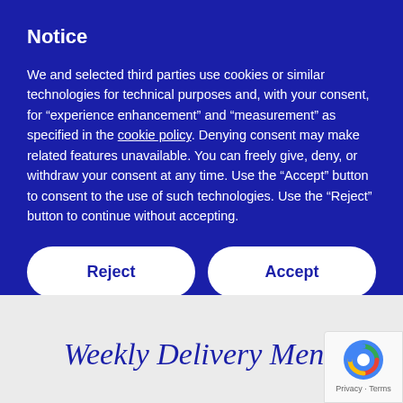Notice
We and selected third parties use cookies or similar technologies for technical purposes and, with your consent, for “experience enhancement” and “measurement” as specified in the cookie policy. Denying consent may make related features unavailable. You can freely give, deny, or withdraw your consent at any time. Use the “Accept” button to consent to the use of such technologies. Use the “Reject” button to continue without accepting.
Reject
Accept
Learn more and customise
Weekly Delivery Menu
[Figure (logo): Google reCAPTCHA badge with Privacy and Terms links]